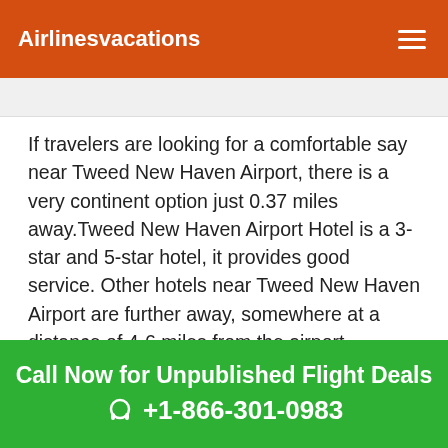Airlinesvacations
If travelers are looking for a comfortable say near Tweed New Haven Airport, there is a very continent option just 0.37 miles away.Tweed New Haven Airport Hotel is a 3-star and 5-star hotel, it provides good service. Other hotels near Tweed New Haven Airport are further away, somewhere at a distance of 4-6 miles from the airport.
Many hotel options available near to Tweed New Haven Airport. These Tweed New Haven Airport
Call Now for Unpublished Flight Deals +1-866-301-0983